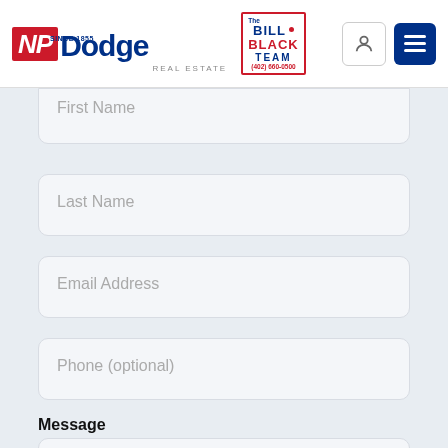[Figure (logo): NP Dodge Real Estate logo with Bill Black Team logo]
First Name
Last Name
Email Address
Phone (optional)
Message
Add a message...
Contact Bill